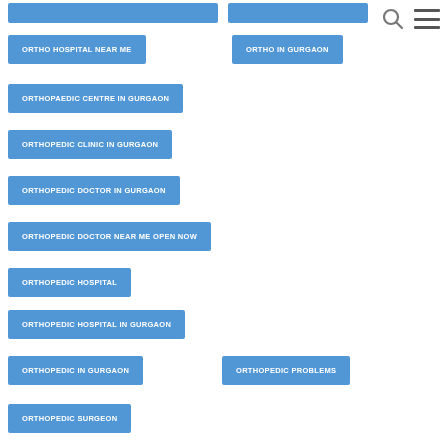ORTHO HOSPITAL NEAR ME
ORTHO IN GURGAON
ORTHOPAEDIC CENTRE IN GURGAON
ORTHOPEDIC CLINIC IN GURGAON
ORTHOPEDIC DOCTOR IN GURGAON
ORTHOPEDIC DOCTOR NEAR ME OPEN NOW
ORTHOPEDIC HOSPITAL
ORTHOPEDIC HOSPITAL IN GURGAON
ORTHOPEDIC IN GURGAON
ORTHOPEDIC PROBLEMS
ORTHOPEDIC SURGEON